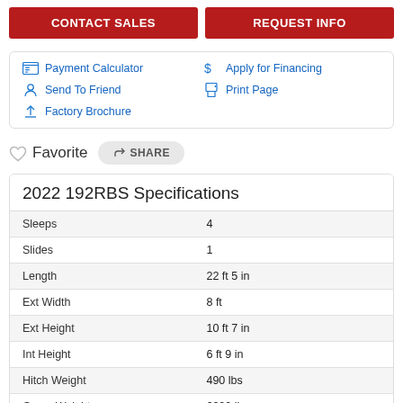CONTACT SALES
REQUEST INFO
Payment Calculator
Apply for Financing
Send To Friend
Print Page
Factory Brochure
Favorite  SHARE
|  |  |
| --- | --- |
| Sleeps | 4 |
| Slides | 1 |
| Length | 22 ft 5 in |
| Ext Width | 8 ft |
| Ext Height | 10 ft 7 in |
| Int Height | 6 ft 9 in |
| Hitch Weight | 490 lbs |
| Gross Weight | 6000 lbs |